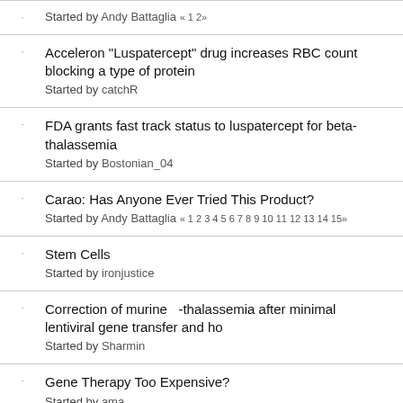Started by Andy Battaglia « 1 2»
Acceleron "Luspatercept" drug increases RBC count blocking a type of protein
Started by catchR
FDA grants fast track status to luspatercept for beta-thalassemia
Started by Bostonian_04
Carao: Has Anyone Ever Tried This Product?
Started by Andy Battaglia « 1 2 3 4 5 6 7 8 9 10 11 12 13 14 15»
Stem Cells
Started by ironjustice
Correction of murine β-thalassemia after minimal lentiviral gene transfer and ho
Started by Sharmin
Gene Therapy Too Expensive?
Started by ama
More Good News from Bluebird. FDA Grants Breakthrough Therapy Designation.